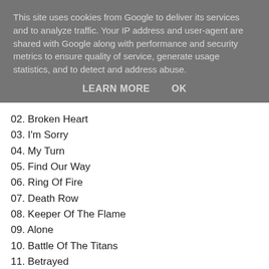This site uses cookies from Google to deliver its services and to analyze traffic. Your IP address and user-agent are shared with Google along with performance and security metrics to ensure quality of service, generate usage statistics, and to detect and address abuse.
LEARN MORE    OK
02. Broken Heart
03. I'm Sorry
04. My Turn
05. Find Our Way
06. Ring Of Fire
07. Death Row
08. Keeper Of The Flame
09. Alone
10. Battle Of The Titans
11. Betrayed
12. Lady Babylon
13. Between Two Mirrors
14. Through The Endless Night
15. Up To You